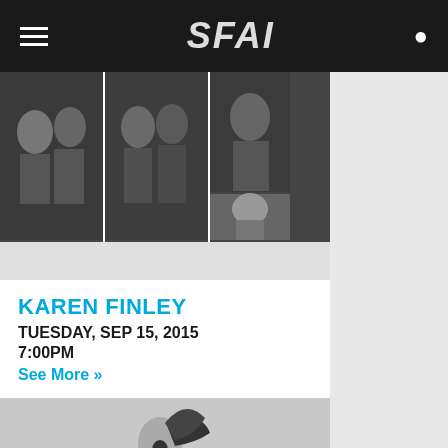SFAI
[Figure (photo): Black and white photo strip showing multiple people in group shots, artistic portrait style]
KAREN FINLEY
TUESDAY, SEP 15, 2015
7:00PM
See More »
[Figure (photo): Black and white performance photo of a woman in a white dress with her head thrown back and hair flying, performing on stage]